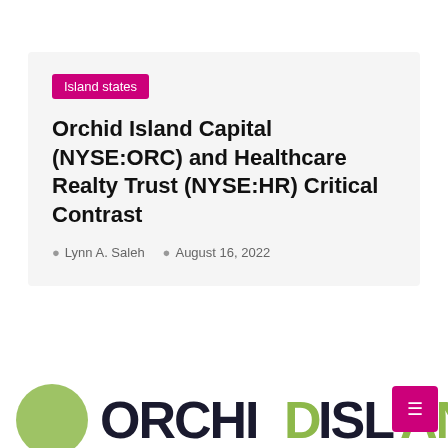Island states
Orchid Island Capital (NYSE:ORC) and Healthcare Realty Trust (NYSE:HR) Critical Contrast
Lynn A. Saleh   August 16, 2022
[Figure (logo): Orchid Island logo with green circle and bold text reading ORCHID ISLAND partially visible at bottom of page]